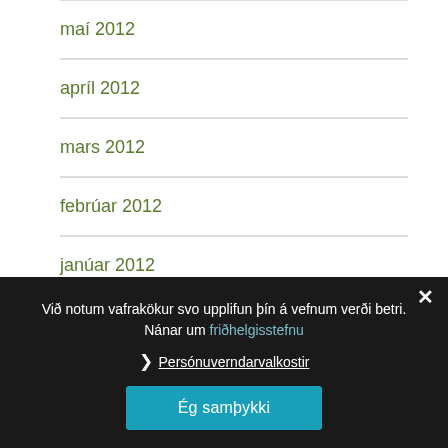maí 2012
apríl 2012
mars 2012
febrúar 2012
janúar 2012
desember 2011
nóvember 2011
október 2011
september 2011
ágúst 2011
júlí 2011
Við notum vafrakökur svo upplifun þín á vefnum verði betri. Nánar um friðhelgisstefnu
❯ Persónuverndarvalkostir
Ég samþykki